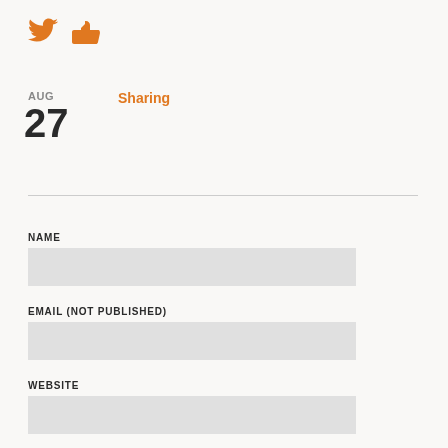[Figure (illustration): Twitter bird icon and thumbs-up like icon in orange color]
AUG
27
Sharing
NAME
EMAIL (NOT PUBLISHED)
WEBSITE